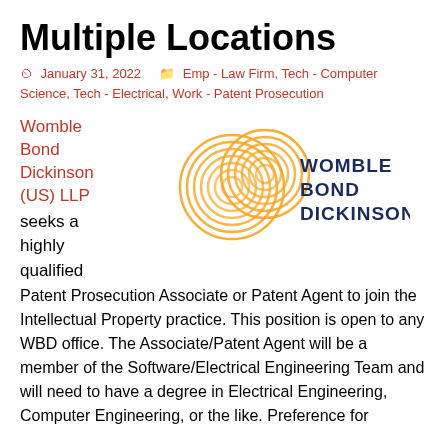Multiple Locations
January 31, 2022   Emp - Law Firm, Tech - Computer Science, Tech - Electrical, Work - Patent Prosecution
[Figure (logo): Womble Bond Dickinson logo with golden concentric spiral circles and text 'WOMBLE BOND DICKINSON' in dark blue]
Womble Bond Dickinson (US) LLP seeks a highly qualified Patent Prosecution Associate or Patent Agent to join the Intellectual Property practice. This position is open to any WBD office. The Associate/Patent Agent will be a member of the Software/Electrical Engineering Team and will need to have a degree in Electrical Engineering, Computer Engineering, or the like. Preference for